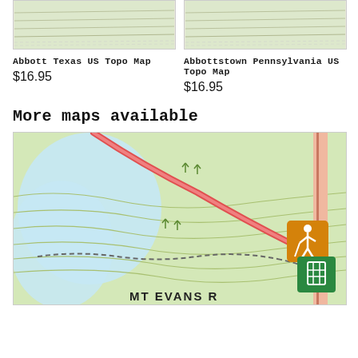[Figure (map): Topographic map thumbnail for Abbott Texas US Topo Map]
[Figure (map): Topographic map thumbnail for Abbottstown Pennsylvania US Topo Map]
Abbott Texas US Topo Map
$16.95
Abbottstown Pennsylvania US Topo Map
$16.95
More maps available
[Figure (map): Detailed topographic trail map showing contour lines, water body, red road, dashed trail path, hiking and trail signs, and partial text MT EVANS R... at bottom]